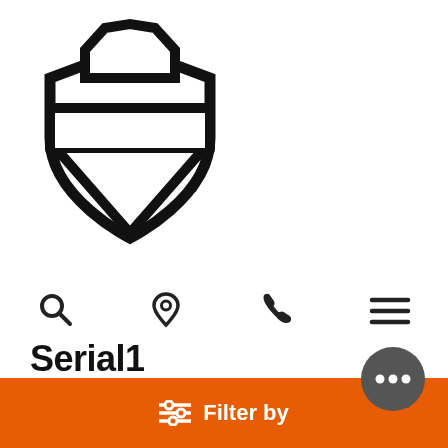[Figure (logo): Harley-Davidson bar and shield logo in black outline]
[Figure (infographic): Navigation icons row: search (magnifying glass), location pin, phone, hamburger menu]
Serial1
When Harley-Davidson’s founders put power to two wheels and created their first motorcycle in 1903, they changed the way the world moved forever. Now, more than a century later, Serial 1 Cycles, Powered by Harley-Davidson, has created an eBicycle that's designed to change the way the world moves again.
Filter by